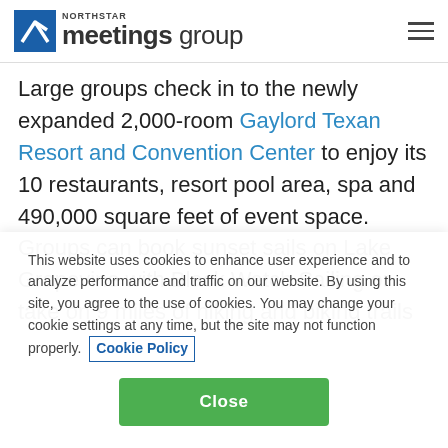NORTHSTAR meetings group
Large groups check in to the newly expanded 2,000-room Gaylord Texan Resort and Convention Center to enjoy its 10 restaurants, resort pool area, spa and 490,000 square feet of event space. Groups can book sunset sails on Lake Grapevine with Black Watch Sailing or take on 9 miles of hiking and biking trails
This website uses cookies to enhance user experience and to analyze performance and traffic on our website. By using this site, you agree to the use of cookies. You may change your cookie settings at any time, but the site may not function properly. Cookie Policy
Close